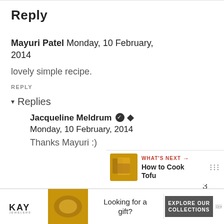Reply
Mayuri Patel Monday, 10 February, 2014
lovely simple recipe.
REPLY
▾ Replies
Jacqueline Meldrum ✓ Monday, 10 February, 2014
Thanks Mayuri :)
[Figure (screenshot): WHAT'S NEXT panel with thumbnail of tofu dish and title 'How to Cook Tofu']
[Figure (screenshot): Kay Jewelers advertisement banner: 'Looking for a gift? EXPLORE OUR COLLECTIONS']